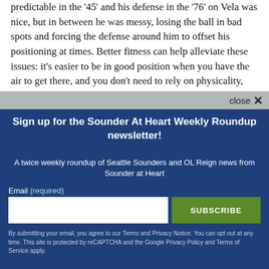predictable in the '45' and his defense in the '76' on Vela was nice, but in between he was messy, losing the ball in bad spots and forcing the defense around him to offset his positioning at times. Better fitness can help alleviate these issues: it's easier to be in good position when you have the air to get there, and you don't need to rely on physicality, hand fighting, and
Sign up for the Sounder At Heart Weekly Roundup newsletter!
A twice weekly roundup of Seattle Sounders and OL Reign news from Sounder at Heart
Email (required)
SUBSCRIBE
By submitting your email, you agree to our Terms and Privacy Notice. You can opt out at any time. This site is protected by reCAPTCHA and the Google Privacy Policy and Terms of Service apply.